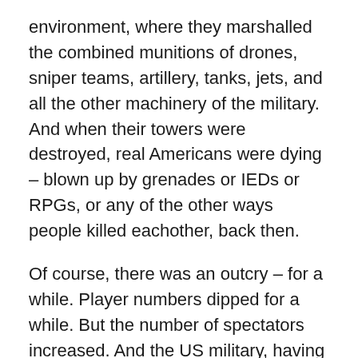environment, where they marshalled the combined munitions of drones, sniper teams, artillery, tanks, jets, and all the other machinery of the military. And when their towers were destroyed, real Americans were dying – blown up by grenades or IEDs or RPGs, or any of the other ways people killed eachother, back then.
Of course, there was an outcry – for a while. Player numbers dipped for a while. But the number of spectators increased. And the US military, having struggled publicly for years with backwards technology and difficulty in recruitment, doubled down. “We need these people to protect our country,” the Pentagon said, one day. “Without the next generation, we’ll lose the next generation”.